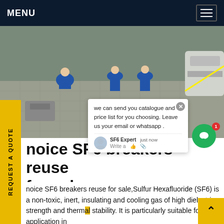MENU
[Figure (photo): Workers in blue coveralls working on large industrial SF6 circuit breaker equipment outdoors on a tiled surface]
REQUEST A QUOTE
we can send you catalogue and price list for you choosing. Leave us your email or whatsapp .
noice SF6 breakers reuse for sale
noice SF6 breakers reuse for sale,Sulfur Hexafluoride (SF6) is a non-toxic, inert, insulating and cooling gas of high dielectric strength and thermal stability. It is particularly suitable for application in